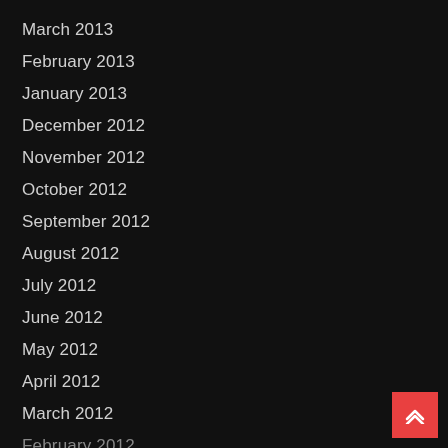March 2013
February 2013
January 2013
December 2012
November 2012
October 2012
September 2012
August 2012
July 2012
June 2012
May 2012
April 2012
March 2012
February 2012